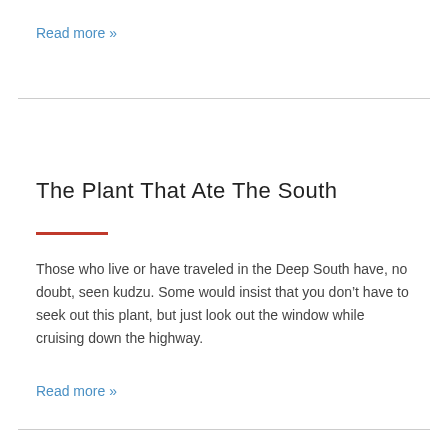Read more »
The Plant That Ate The South
Those who live or have traveled in the Deep South have, no doubt, seen kudzu. Some would insist that you don't have to seek out this plant, but just look out the window while cruising down the highway.
Read more »